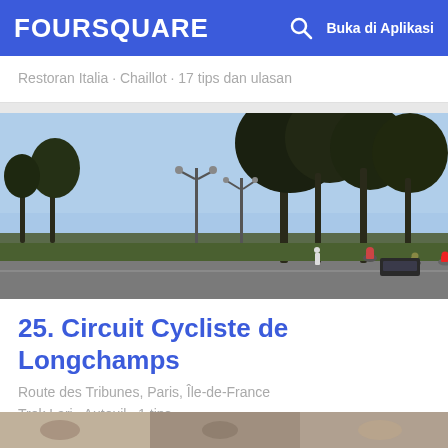FOURSQUARE  Buka di Aplikasi
Restoran Italia · Chaillot · 17 tips dan ulasan
[Figure (photo): Outdoor photo of cyclists on a road with bare trees and a park in the background, taken on a clear day at Circuit Cycliste de Longchamps]
25. Circuit Cycliste de Longchamps
Route des Tribunes, Paris, Île-de-France
Trek Lari · Auteuil · 1 tips